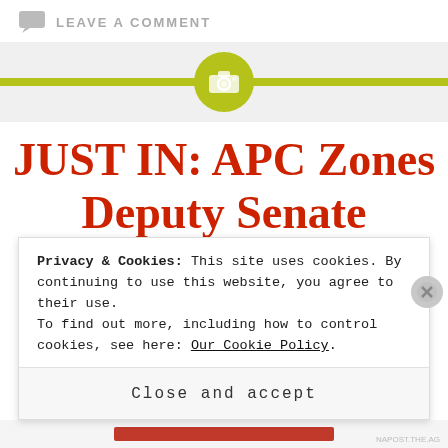LEAVE A COMMENT
[Figure (illustration): Olive/yellow-green horizontal stripe with a circular camera icon in the center, on a light gray background band]
JUST IN: APC Zones Deputy Senate President To South...
Privacy & Cookies: This site uses cookies. By continuing to use this website, you agree to their use. To find out more, including how to control cookies, see here: Our Cookie Policy
Close and accept